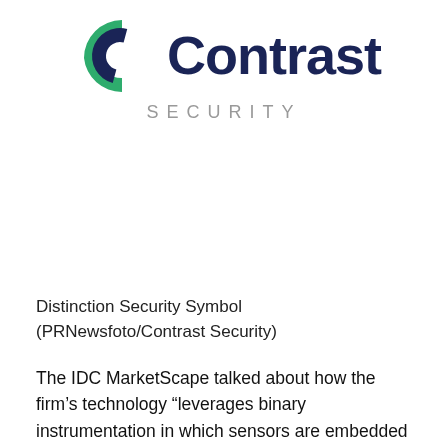[Figure (logo): Contrast Security logo with a stylized C icon in green and dark navy blue, followed by the text 'Contrast' in large dark navy bold font and 'SECURITY' in spaced gray letters beneath.]
Distinction Security Symbol (PRNewsfoto/Contrast Security)
The IDC MarketScape talked about how the firm’s technology “leverages binary instrumentation in which sensors are embedded within software servers, runtime and